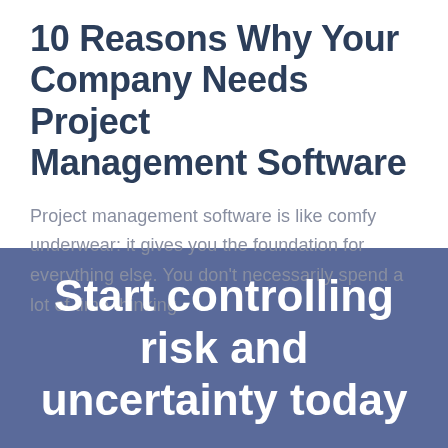10 Reasons Why Your Company Needs Project Management Software
Project management software is like comfy underwear: it gives you the foundation for everything else. You don't necessarily spend a lot of time thinking
Start controlling risk and uncertainty today